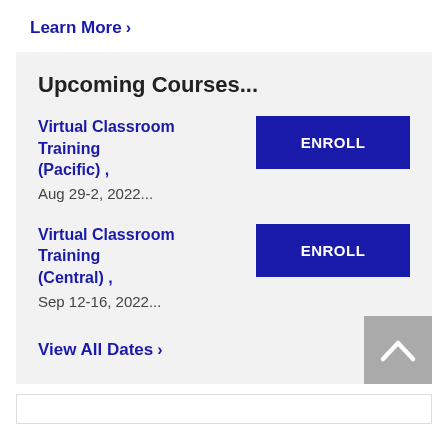Learn More >
Upcoming Courses...
Virtual Classroom Training (Pacific) ,
Aug 29-2, 2022...
ENROLL
Virtual Classroom Training (Central) ,
Sep 12-16, 2022...
ENROLL
View All Dates >